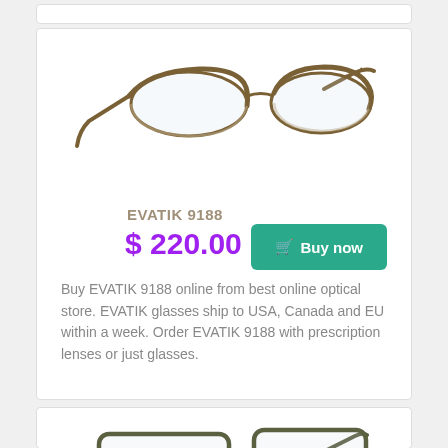[Figure (photo): EVATIK 9188 eyeglasses - brown/bronze half-rim rectangular frames, angled view]
EVATIK 9188
$ 220.00
Buy now
Buy EVATIK 9188 online from best online optical store. EVATIK glasses ship to USA, Canada and EU within a week. Order EVATIK 9188 with prescription lenses or just glasses.
[Figure (photo): Second pair of eyeglasses - dark olive/grey full-rim rectangular frames, angled view]